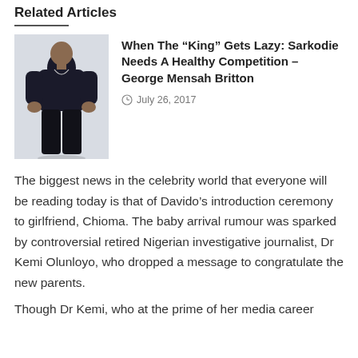Related Articles
[Figure (photo): Photo of a young man in dark clothing, standing against a light background]
When The “King” Gets Lazy: Sarkodie Needs A Healthy Competition – George Mensah Britton
July 26, 2017
The biggest news in the celebrity world that everyone will be reading today is that of Davido’s introduction ceremony to girlfriend, Chioma. The baby arrival rumour was sparked by controversial retired Nigerian investigative journalist, Dr Kemi Olunloyo, who dropped a message to congratulate the new parents.
Though Dr Kemi, who at the prime of her media career